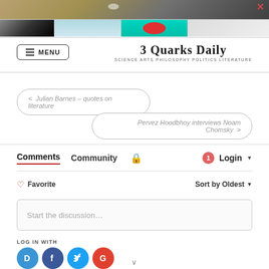[Figure (screenshot): Top image strip showing planet surface texture]
[Figure (photo): Row of four thumbnail images]
MENU | 3 Quarks Daily — SCIENCE ARTS PHILOSOPHY POLITICS LITERATURE
< Julian Barnes – quotes on literature
Pervez Hoodbhoy interviews Noam Chomsky >
Comments  Community  [lock]  1  Login
♡ Favorite    Sort by Oldest
Start the discussion…
LOG IN WITH
[Figure (logo): Social login icons: Disqus (D), Facebook (F), Twitter (T), Google (G)]